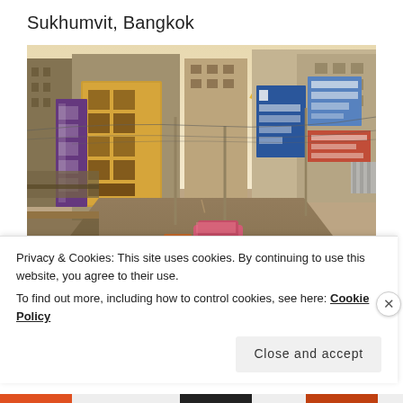Sukhumvit, Bangkok
[Figure (photo): Street scene in Chinatown/Yaowarat area of Bangkok with colorful Chinese shop signs, pedestrians, a pink car, and multi-story buildings lining both sides of the road.]
Privacy & Cookies: This site uses cookies. By continuing to use this website, you agree to their use.
To find out more, including how to control cookies, see here: Cookie Policy
Close and accept